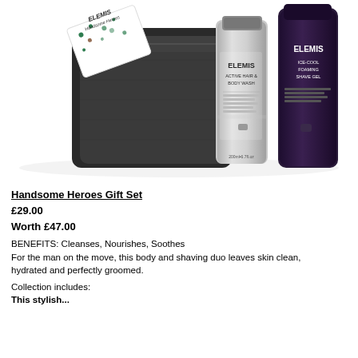[Figure (photo): ELEMIS Handsome Heroes Gift Set product photo showing a black leather washbag/pouch, a silver ELEMIS Active Hair & Body Wash bottle (200ml/6.7fl.oz), a dark purple ELEMIS Ice-Cool Foaming Shave Gel bottle, and a small decorative gift card with leaf pattern]
Handsome Heroes Gift Set
£29.00
Worth £47.00
BENEFITS: Cleanses, Nourishes, Soothes
For the man on the move, this body and shaving duo leaves skin clean, hydrated and perfectly groomed.
Collection includes:
This stylish...